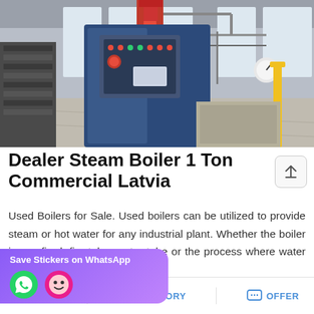[Figure (photo): Industrial steam boiler (1 ton) in a factory/warehouse setting. The boiler is a tall vertical unit with a blue metal casing and control panel with indicator lights and switches. A large red cylindrical pipe/column runs vertically through the center. Various pipes, wires, and equipment visible in the background industrial space with large windows.]
Dealer Steam Boiler 1 Ton Commercial Latvia
Used Boilers for Sale. Used boilers can be utilized to provide steam or hot water for any industrial plant. Whether the boiler is gas fired, fire tube, water tube or the process where water or o…
[Figure (screenshot): WhatsApp sticker save overlay with purple gradient background, showing 'Save Stickers on WhatsApp' text and two emoji-style icons (phone/WhatsApp icon and a face emoji icon)]
MAIL   ADVISORY   OFFER